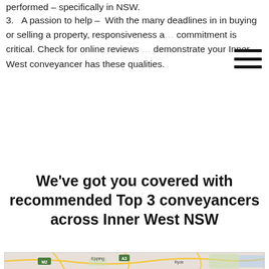performed – specifically in NSW.
3. A passion to help – With the many deadlines in in buying or selling a property, responsiveness and commitment is critical. Check for online reviews that demonstrate your Inner West conveyancer has these qualities.
We've got you covered with recommended Top 3 conveyancers across Inner West NSW
[Figure (map): Google map showing Inner West NSW area, with suburbs including Epping, Macquarie Park, Eastwood, Chatswood, Ryde, Sydney. Road labels visible: M2, A3, A3B, A40, A6, M4, M2, A8. Areas of Parramatta and other suburbs partially visible on left edge.]